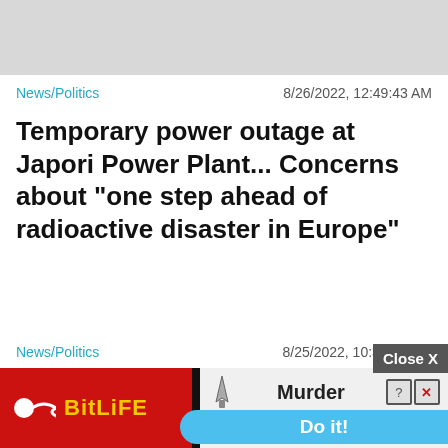[Figure (photo): Gray image placeholder banner at top of page]
News/Politics   8/26/2022, 12:49:43 AM
Temporary power outage at Japori Power Plant... Concerns about "one step ahead of radioactive disaster in Europe"
News/Politics   8/25/2022, 10:37:56 PM
The Head of State discusses with the
[Figure (illustration): BitLife mobile game advertisement banner with red background, sperm logo, yellow BitLife text, knife icon, Murder label, and blue Do it! button]